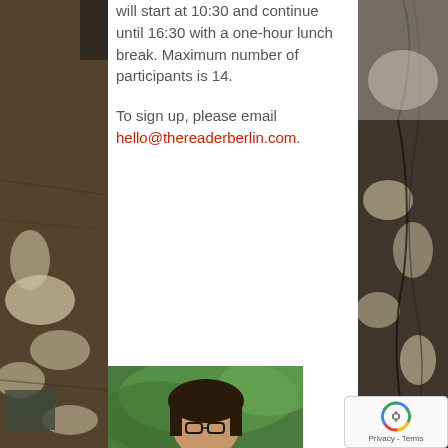[Figure (photo): Background photo on the left side showing crumpled paper bags and items on a wooden floor]
will start at 10:30 and continue until 16:30 with a one-hour lunch break. Maximum number of participants is 14.

To sign up, please email hello@thereaderberlin.com.
[Figure (photo): Portrait photo of a woman with dark hair and glasses outdoors with green foliage in background]
[Figure (other): reCAPTCHA privacy badge with Google logo]
[Figure (photo): Background photo on the right side showing dark items]